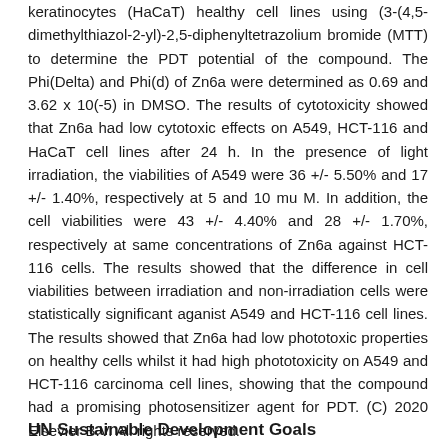keratinocytes (HaCaT) healthy cell lines using (3-(4,5-dimethylthiazol-2-yl)-2,5-diphenyltetrazolium bromide (MTT) to determine the PDT potential of the compound. The Phi(Delta) and Phi(d) of Zn6a were determined as 0.69 and 3.62 x 10(-5) in DMSO. The results of cytotoxicity showed that Zn6a had low cytotoxic effects on A549, HCT-116 and HaCaT cell lines after 24 h. In the presence of light irradiation, the viabilities of A549 were 36 +/- 5.50% and 17 +/- 1.40%, respectively at 5 and 10 mu M. In addition, the cell viabilities were 43 +/- 4.40% and 28 +/- 1.70%, respectively at same concentrations of Zn6a against HCT-116 cells. The results showed that the difference in cell viabilities between irradiation and non-irradiation cells were statistically significant aganist A549 and HCT-116 cell lines. The results showed that Zn6a had low phototoxic properties on healthy cells whilst it had high phototoxicity on A549 and HCT-116 carcinoma cell lines, showing that the compound had a promising photosensitizer agent for PDT. (C) 2020 Elsevier B.V. All rights reserved.
UN Sustainable Development Goals